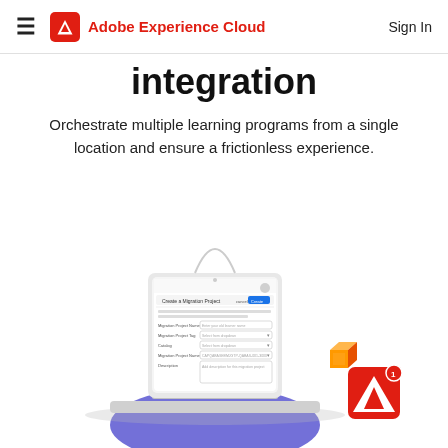Adobe Experience Cloud  Sign In
integration
Orchestrate multiple learning programs from a single location and ensure a frictionless experience.
[Figure (screenshot): Screenshot of a laptop showing a 'Create a Migration Project' form interface with fields for migration project name, tag, catalog, migration project name and description. An Adobe notification badge with AWS cube icon is visible in the bottom right corner. A purple/blue circular shape is in the background behind the laptop.]